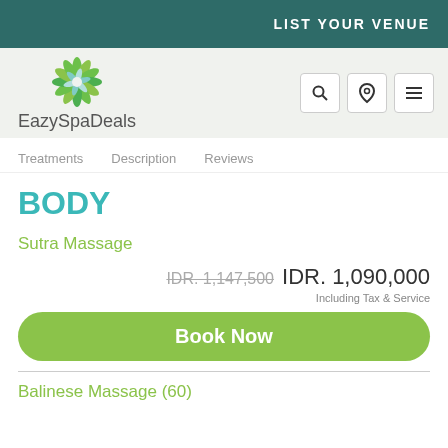LIST YOUR VENUE
[Figure (logo): EazySpaDeals logo with green flower/leaf mandala icon above the text 'EazySpaDeals']
Treatments   Description   Reviews
BODY
Sutra Massage
IDR. 1,147,500  IDR. 1,090,000  Including Tax & Service
Book Now
Balinese Massage (60)